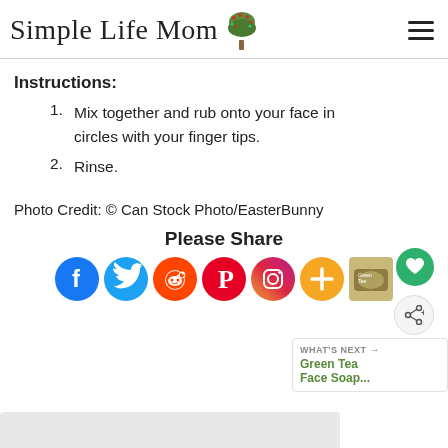Simple Life Mom
Instructions:
Mix together and rub onto your face in circles with your finger tips.
Rinse.
Photo Credit: © Can Stock Photo/EasterBunny
Please Share
[Figure (other): Social media share icons: Facebook, Twitter, Reddit, Pinterest, Instagram, More (plus button), and Green Tea Face Soap thumbnail with What's Next label]